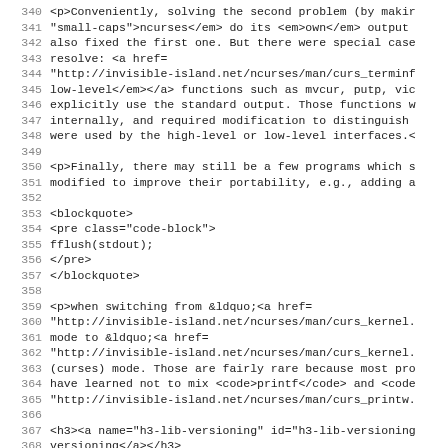Source code viewer showing lines 340-371 of an HTML/code document involving ncurses library documentation with blockquote, pre, and inline code examples.